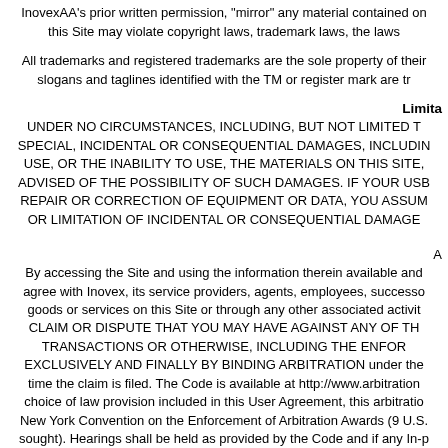InovexAA's prior written permission, "mirror" any material contained on this Site may violate copyright laws, trademark laws, the laws
All trademarks and registered trademarks are the sole property of their slogans and taglines identified with the TM or register mark are tr
Limita
UNDER NO CIRCUMSTANCES, INCLUDING, BUT NOT LIMITED T SPECIAL, INCIDENTAL OR CONSEQUENTIAL DAMAGES, INCLUDIN USE, OR THE INABILITY TO USE, THE MATERIALS ON THIS SITE, ADVISED OF THE POSSIBILITY OF SUCH DAMAGES. IF YOUR USB REPAIR OR CORRECTION OF EQUIPMENT OR DATA, YOU ASSUM OR LIMITATION OF INCIDENTAL OR CONSEQUENTIAL DAMAGE
A
By accessing the Site and using the information therein available and agree with Inovex, its service providers, agents, employees, successo goods or services on this Site or through any other associated activit CLAIM OR DISPUTE THAT YOU MAY HAVE AGAINST ANY OF TH TRANSACTIONS OR OTHERWISE, INCLUDING THE ENFOR EXCLUSIVELY AND FINALLY BY BINDING ARBITRATION under the time the claim is filed. The Code is available at http://www.arbitration choice of law provision included in this User Agreement, this arbitratio New York Convention on the Enforcement of Arbitration Awards (9 U.S. sought). Hearings shall be held as provided by the Code and if any In-p own cost of any legal representation, dis
Please review our Privacy Policy, which also governs your visit to this